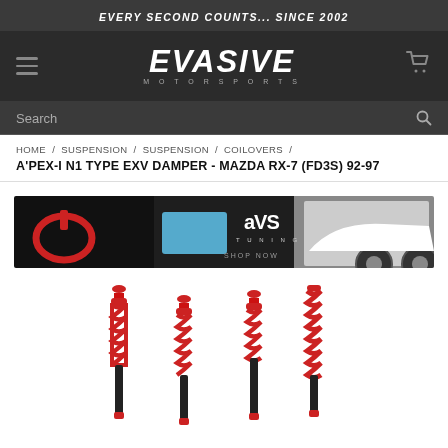EVERY SECOND COUNTS... SINCE 2002
[Figure (logo): Evasive Motorsports logo in stylized font with hamburger menu and cart icon on dark background]
[Figure (screenshot): Search bar on dark background with search icon]
HOME / SUSPENSION / SUSPENSION / COILOVERS /
A'PEX-I N1 TYPE EXV DAMPER - MAZDA RX-7 (FD3S) 92-97
[Figure (photo): APS Tuning promotional banner with red tow hook, blue display screen, APS logo, and white sports car on right side. SHOP NOW text visible.]
[Figure (photo): Four red and black coilover suspension assemblies displayed against white background, showing spring and damper components]